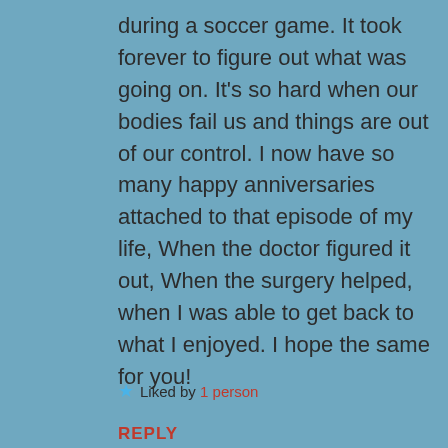during a soccer game. It took forever to figure out what was going on. It's so hard when our bodies fail us and things are out of our control. I now have so many happy anniversaries attached to that episode of my life, When the doctor figured it out, When the surgery helped, when I was able to get back to what I enjoyed. I hope the same for you!
Liked by 1 person
REPLY